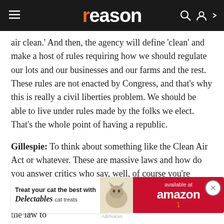reason
air clean.' And then, the agency will define 'clean' and make a host of rules requiring how we should regulate our lots and our businesses and our farms and the rest. These rules are not enacted by Congress, and that's why this is really a civil liberties problem. We should be able to live under rules made by the folks we elect. That's the whole point of having a republic.
Gillespie: To think about something like the Clean Air Act or whatever. These are massive laws and how do you answer critics who say, well, of course you're gonna kind of push a lot of the responsibility for actually writing up the rules that implement the goals of the law to bureaucrats. You don't wanna, I don't know, who's your least fa... ning pollution...
[Figure (other): Advertisement banner: Treat your cat the best with Delectables cat treats, available at amazon]